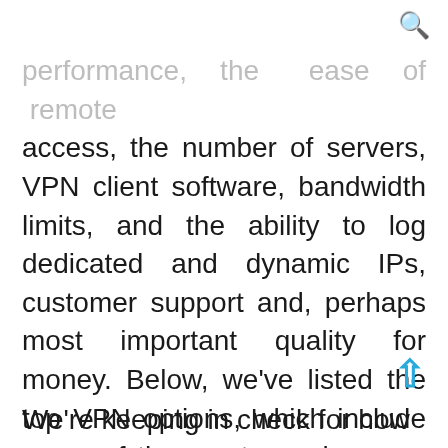[Figure (other): Search icon (magnifying glass) in top-right corner]
performance, the ease of remote access, the number of servers, VPN client software, bandwidth limits, and the ability to log dedicated and dynamic IPs, customer support and, perhaps most important quality for money. Below, we've listed the top VPN options, which include some of the most popular ones like ExpressVPN, NordVPN, Surfshark, and IPVanish.
We're keeping in check for how